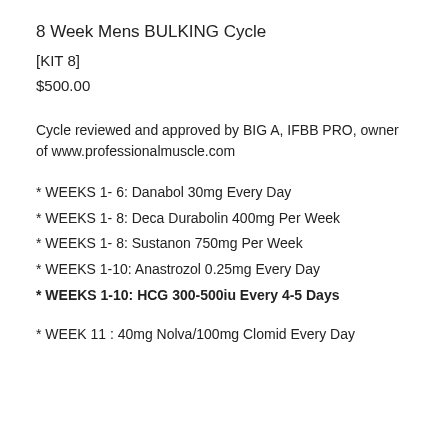8 Week Mens BULKING Cycle
[KIT 8]
$500.00
Cycle reviewed and approved by BIG A, IFBB PRO, owner of www.professionalmuscle.com
* WEEKS 1- 6: Danabol 30mg Every Day
* WEEKS 1- 8: Deca Durabolin 400mg Per Week
* WEEKS 1- 8: Sustanon 750mg Per Week
* WEEKS 1-10: Anastrozol 0.25mg Every Day
* WEEKS 1-10: HCG 300-500iu Every 4-5 Days
* WEEK 11 : 40mg Nolva/100mg Clomid Every Day